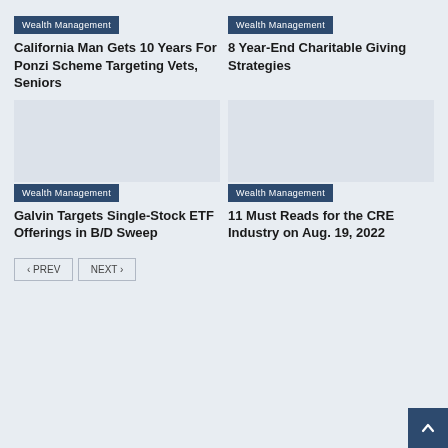Wealth Management
California Man Gets 10 Years For Ponzi Scheme Targeting Vets, Seniors
Wealth Management
8 Year-End Charitable Giving Strategies
[Figure (photo): Placeholder image for article about Galvin Targets Single-Stock ETF Offerings in B/D Sweep]
Wealth Management
Galvin Targets Single-Stock ETF Offerings in B/D Sweep
[Figure (photo): Placeholder image for article about 11 Must Reads for the CRE Industry on Aug. 19, 2022]
Wealth Management
11 Must Reads for the CRE Industry on Aug. 19, 2022
< PREV   NEXT >